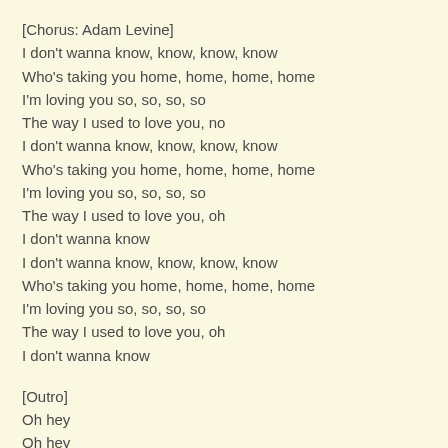[Chorus: Adam Levine]
I don't wanna know, know, know, know
Who's taking you home, home, home, home
I'm loving you so, so, so, so
The way I used to love you, no
I don't wanna know, know, know, know
Who's taking you home, home, home, home
I'm loving you so, so, so, so
The way I used to love you, oh
I don't wanna know
I don't wanna know, know, know, know
Who's taking you home, home, home, home
I'm loving you so, so, so, so
The way I used to love you, oh
I don't wanna know
[Outro]
Oh hey
Oh hey
Oh hey
Oh, oh